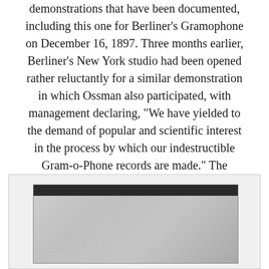demonstrations that have been documented, including this one for Berliner's Gramophone on December 16, 1897. Three months earlier, Berliner's New York studio had been opened rather reluctantly for a similar demonstration in which Ossman also participated, with management declaring, “We have yielded to the demand of popular and scientific interest in the process by which our indestructible Gram-o-Phone records are made.” The demonstration recordings are not known to have been released.
[Figure (photo): A historical black and white photograph partially visible at the bottom of the page, showing what appears to be a dark bar at the top with a grainy, textured image below it.]